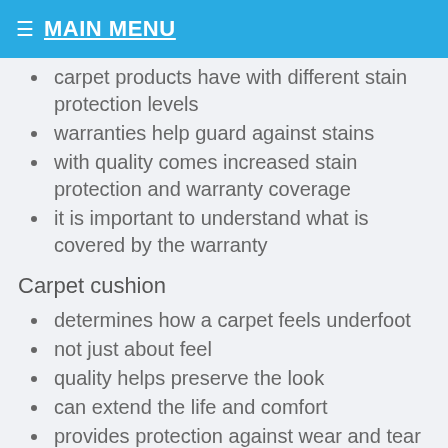☰ MAIN MENU
carpet products have with different stain protection levels
warranties help guard against stains
with quality comes increased stain protection and warranty coverage
it is important to understand what is covered by the warranty
Carpet cushion
determines how a carpet feels underfoot
not just about feel
quality helps preserve the look
can extend the life and comfort
provides protection against wear and tear
sold using quality specifications, not color